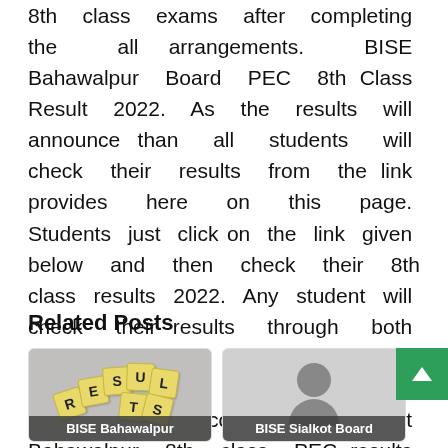8th class exams after completing the all arrangements. BISE Bahawalpur Board PEC 8th Class Result 2022. As the results will announce than all students will check their results from the link provides here on this page. Students just click on the link given below and then check their 8th class results 2022. Any student will check their results through both ways by name and also by roll number. Because we will upload here online complete District Bahawalpur 8th class PEC results 2022. BISE Bahawalpur Board PEC 8th Class Result 2022 Check By Roll Number Online.
Related Posts
[Figure (illustration): Card thumbnail with Scrabble-style tiles spelling RESULTS, with caption 'BISE Bahawalpur' on a dark overlay at the bottom.]
[Figure (illustration): Card thumbnail with a grey figure/person icon, with caption 'BISE Sialkot Board' on a dark overlay at the bottom.]